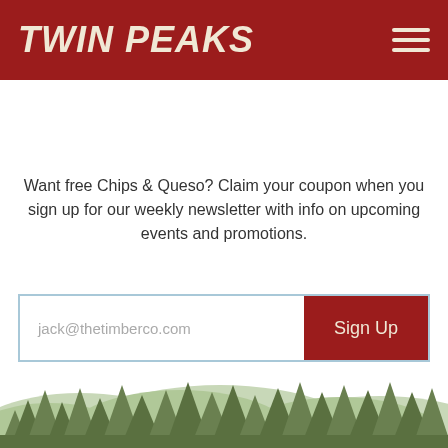TWIN PEAKS
Change   FIND YOUR NEAREST LOCATION
Want free Chips & Queso? Claim your coupon when you sign up for our weekly newsletter with info on upcoming events and promotions.
jack@thetimberco.com  Sign Up
[Figure (illustration): Green forest treeline silhouette illustration at the bottom of the page]